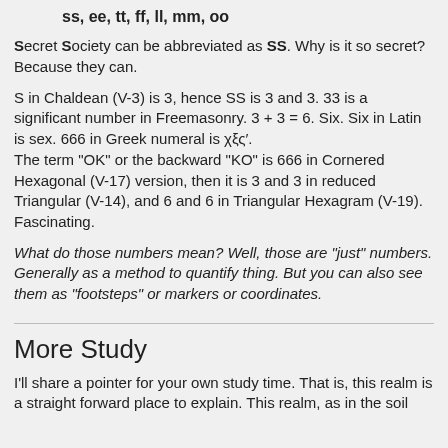ss, ee, tt, ff, ll, mm, oo
Secret Society can be abbreviated as SS. Why is it so secret? Because they can.
S in Chaldean (V-3) is 3, hence SS is 3 and 3. 33 is a significant number in Freemasonry. 3 + 3 = 6. Six. Six in Latin is sex. 666 in Greek numeral is χξς′.
The term "OK" or the backward "KO" is 666 in Cornered Hexagonal (V-17) version, then it is 3 and 3 in reduced Triangular (V-14), and 6 and 6 in Triangular Hexagram (V-19). Fascinating.
What do those numbers mean? Well, those are "just" numbers. Generally as a method to quantify thing. But you can also see them as "footsteps" or markers or coordinates.
More Study
I'll share a pointer for your own study time. That is, this realm is a straight forward place to explain. This realm, as in the soil